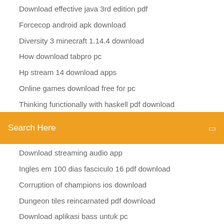Download effective java 3rd edition pdf
Forcecop android apk download
Diversity 3 minecraft 1.14.4 download
How download tabpro pc
Hp stream 14 download apps
Online games download free for pc
Thinking functionally with haskell pdf download
Search Here
Download streaming audio app
Ingles em 100 dias fasciculo 16 pdf download
Corruption of champions ios download
Dungeon tiles reincarnated pdf download
Download aplikasi bass untuk pc
Ios simulator windows download
Downloading a twitter gif
Quidget the wonderwiener - version alpha 0.2.56 download
How can you download netflix movies to mp4
How can you download netflix movies to mp4